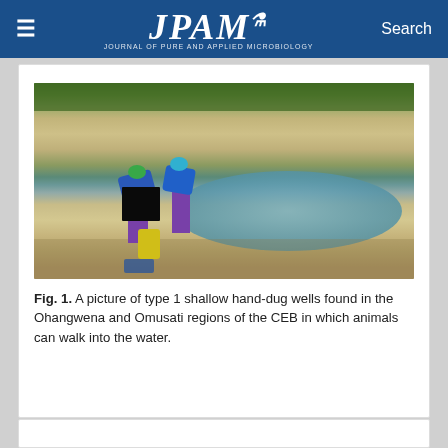JPAM — Journal of Pure and Applied Microbiology | Search
[Figure (photo): Photograph of two people collecting water from a type 1 shallow hand-dug well in a sandy landscape. The well is an oval pool of water surrounded by sandy banks. The people are bent over collecting water with containers including a yellow jerrycan. Green vegetation is visible at the top of the image.]
Fig. 1. A picture of type 1 shallow hand-dug wells found in the Ohangwena and Omusati regions of the CEB in which animals can walk into the water.